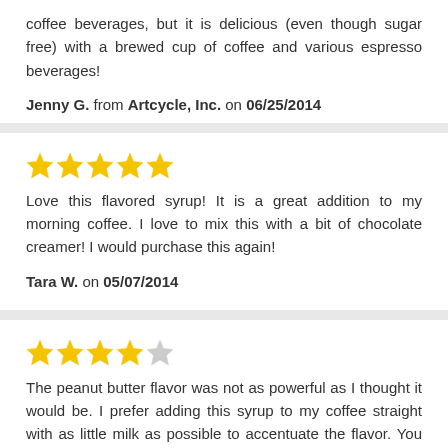coffee beverages, but it is delicious (even though sugar free) with a brewed cup of coffee and various espresso beverages!
Jenny G. from Artcycle, Inc. on 06/25/2014
[Figure (other): 5 gold stars rating]
Love this flavored syrup! It is a great addition to my morning coffee. I love to mix this with a bit of chocolate creamer! I would purchase this again!
Tara W. on 05/07/2014
[Figure (other): 4 gold stars and 1 grey star rating]
The peanut butter flavor was not as powerful as I thought it would be. I prefer adding this syrup to my coffee straight with as little milk as possible to accentuate the flavor. You would never